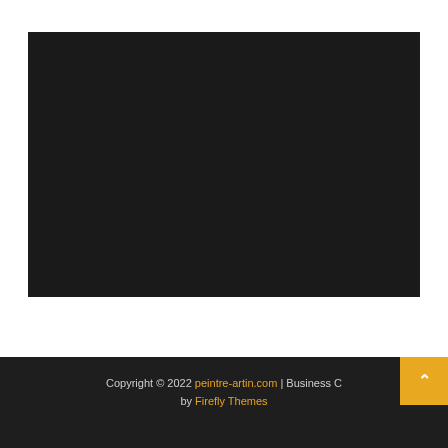[Figure (photo): A large dark/black rectangular image block on a white background, appearing to be a photo or video player with very dark content.]
Copyright © 2022 peintre-artin.com | Business C... by Firefly Themes